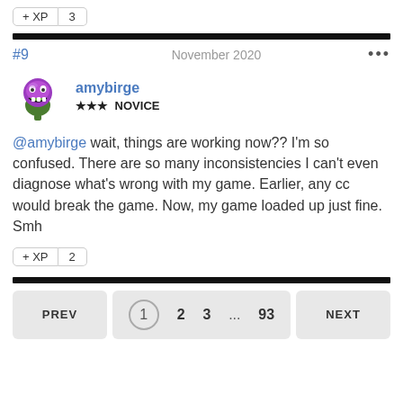+ XP  3
#9  November 2020  •••
amybirge
★★★ NOVICE
@amybirge wait, things are working now?? I'm so confused. There are so many inconsistencies I can't even diagnose what's wrong with my game. Earlier, any cc would break the game. Now, my game loaded up just fine. Smh
+ XP  2
PREV  1  2  3  ...  93  NEXT